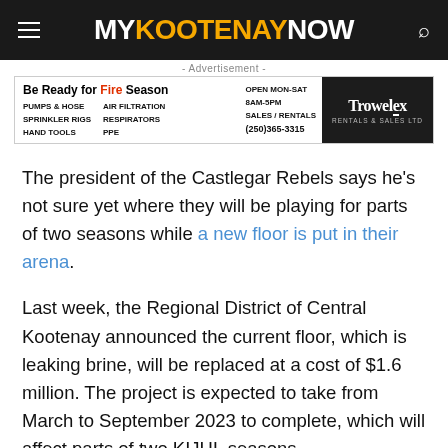MY KOOTENAY NOW
[Figure (other): Trowelex Rentals & Sales advertisement banner: Be Ready for Fire Season. PUMPS & HOSE, SPRINKLER RIGS, HAND TOOLS, AIR FILTRATION, RESPIRATORS, PPE. OPEN MON-SAT 8AM-5PM SALES / RENTALS (250)365-3315. Trowelex RENTALS & SALES LTD.]
The president of the Castlegar Rebels says he's not sure yet where they will be playing for parts of two seasons while a new floor is put in their arena.
Last week, the Regional District of Central Kootenay announced the current floor, which is leaking brine, will be replaced at a cost of $1.6 million. The project is expected to take from March to September 2023 to complete, which will affect parts of two KIJHL seasons.
Team president Mike Johnstone says the work needs to be